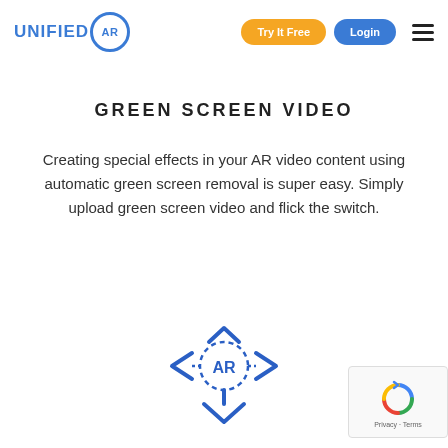[Figure (logo): UNIFIED AR logo with blue text and circular AR badge, navigation bar with orange 'Try It Free' button, blue 'Login' button, and hamburger menu icon]
GREEN SCREEN VIDEO
Creating special effects in your AR video content using automatic green screen removal is super easy. Simply upload green screen video and flick the switch.
[Figure (logo): Unified AR brand icon - blue AR text in diamond/chevron shape with arrows pointing left, right, and down]
[Figure (other): reCAPTCHA widget with spinning arrows icon and 'Privacy - Terms' text]